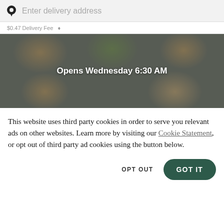Enter delivery address
$0.47 Delivery Fee  ♦
[Figure (photo): Food delivery restaurant image showing bowls of salads and wraps seen from above, with a dark overlay. Text overlay reads 'Opens Wednesday 6:30 AM']
This website uses third party cookies in order to serve you relevant ads on other websites. Learn more by visiting our Cookie Statement, or opt out of third party ad cookies using the button below.
OPT OUT
GOT IT